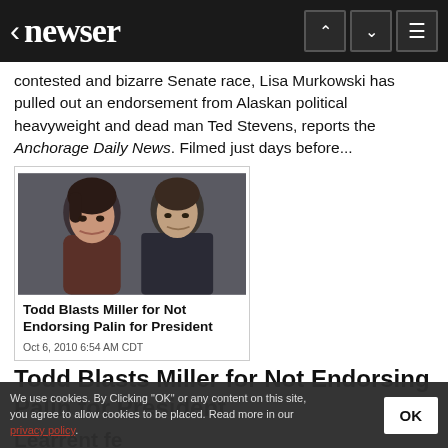newser
contested and bizarre Senate race, Lisa Murkowski has pulled out an endorsement from Alaskan political heavyweight and dead man Ted Stevens, reports the Anchorage Daily News. Filmed just days before...
[Figure (photo): Photo of a woman and man looking at each other, with card overlay showing article title and date]
Todd Blasts Miller for Not Endorsing Palin for President
Oct 6, 2010 6:54 AM CDT
Todd Blasts Miller for Not Endorsing Palin for President
Lea...rrent fe... with...oint...
We use cookies. By Clicking "OK" or any content on this site, you agree to allow cookies to be placed. Read more in our privacy policy.